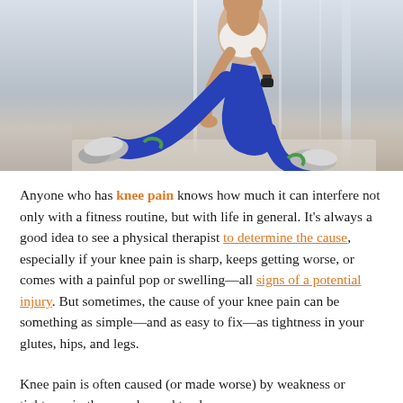[Figure (photo): A woman in blue athletic leggings and white sports bra performing a deep lateral lunge stretch on a gym mat, with one leg extended to the side and resistance bands around her ankles, leaning forward with one hand touching the floor.]
Anyone who has knee pain knows how much it can interfere not only with a fitness routine, but with life in general. It's always a good idea to see a physical therapist to determine the cause, especially if your knee pain is sharp, keeps getting worse, or comes with a painful pop or swelling—all signs of a potential injury. But sometimes, the cause of your knee pain can be something as simple—and as easy to fix—as tightness in your glutes, hips, and legs.
Knee pain is often caused (or made worse) by weakness or tightness in the muscles and tendons